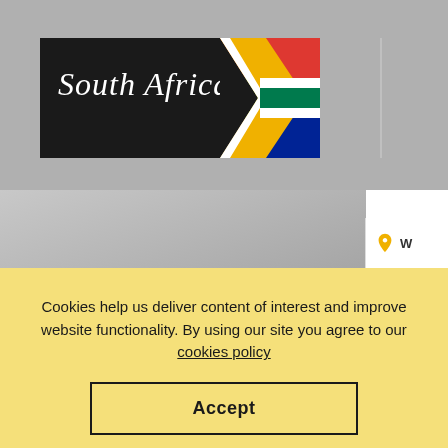[Figure (logo): South Africa government logo with white italic text 'South Africa' on black background with South African flag chevron graphic on right side]
[Figure (screenshot): Gray gradient background area representing a website hero/banner section, with a white panel partially visible on the right showing a map pin icon and the letter W, and a partial map shape silhouette]
Cookies help us deliver content of interest and improve website functionality. By using our site you agree to our cookies policy
Accept